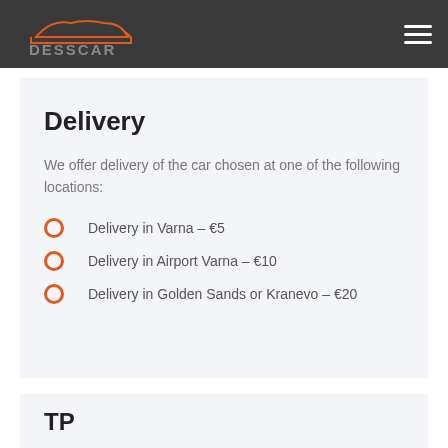DESSCAR
Delivery
We offer delivery of the car chosen at one of the following locations:
Delivery in Varna – €5
Delivery in Airport Varna – €10
Delivery in Golden Sands or Kranevo – €20
TP